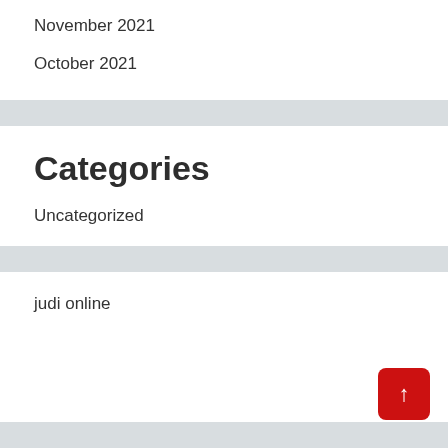November 2021
October 2021
Categories
Uncategorized
judi online